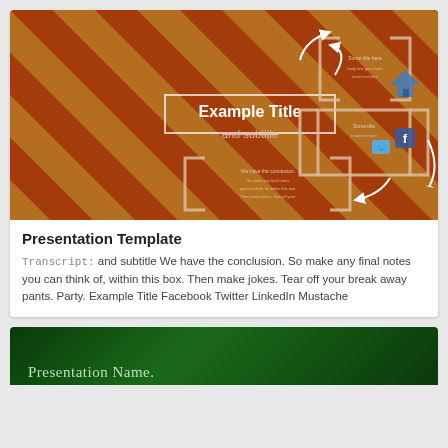[Figure (screenshot): Presentation template thumbnail showing a diagonal rust/orange and brown striped background with 'Example Title and subtitle' text in center, and bracket-framed content areas with social media icons (home, Facebook, Twitter) arranged around the slide with white curved arrows.]
Presentation Template
Transcript: and subtitle We have the conclusion. So make any final notes you can think of, within this box. Then make jokes. Tear off your break away pants. Party. Example Title Facebook Twitter LinkedIn Mustache
[Figure (screenshot): Partial thumbnail of second presentation card with dark green background and 'Presentation Name.' text partially visible at bottom.]